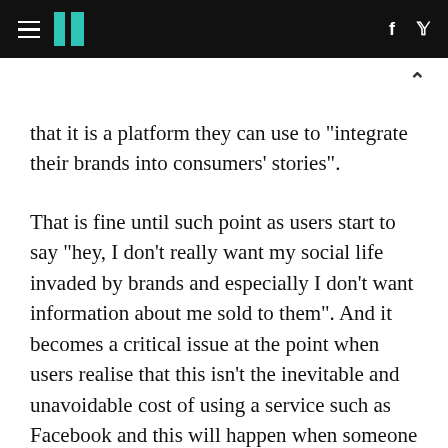HuffPost navigation header with hamburger menu, logo, Facebook and Twitter icons
that it is a platform they can use to "integrate their brands into consumers' stories".
That is fine until such point as users start to say "hey, I don't really want my social life invaded by brands and especially I don't want information about me sold to them". And it becomes a critical issue at the point when users realise that this isn't the inevitable and unavoidable cost of using a service such as Facebook and this will happen when someone shows up who can provide a social network that doesn't have to exact this